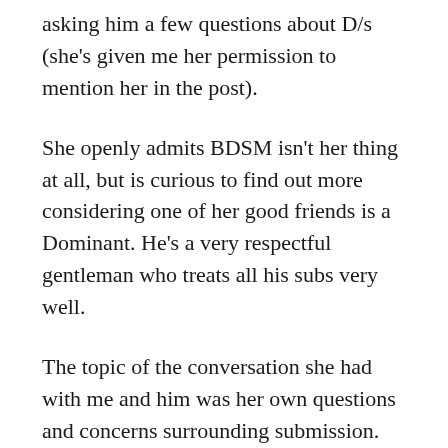asking him a few questions about D/s (she's given me her permission to mention her in the post).
She openly admits BDSM isn't her thing at all, but is curious to find out more considering one of her good friends is a Dominant. He's a very respectful gentleman who treats all his subs very well.
The topic of the conversation she had with me and him was her own questions and concerns surrounding submission.
She said: “I don’t think I could be a sub. I’m frightened I’d be perceived as weak.”
Just to clarify, she did not mean this in a mocking way